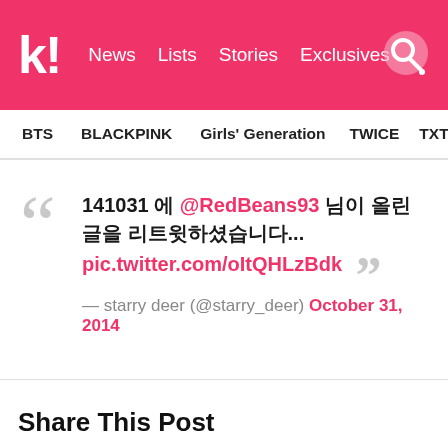k! News Lists Stories Exclusives
BTS BLACKPINK Girls' Generation TWICE TXT SEVE
141031 에 @RedBeans93 님이 올린 글을 리트윗하셨습니다... pic.twitter.com/oItQHLzBdk — starry deer (@starry_deer) October 31, 2014
Share This Post